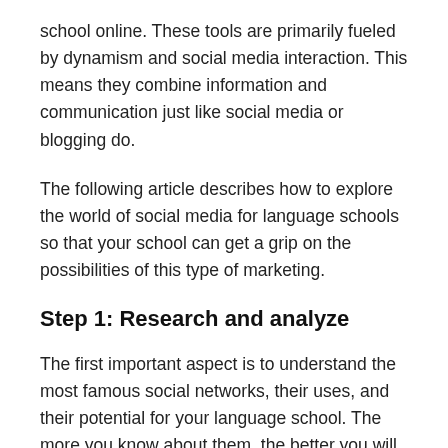school online. These tools are primarily fueled by dynamism and social media interaction. This means they combine information and communication just like social media or blogging do.
The following article describes how to explore the world of social media for language schools so that your school can get a grip on the possibilities of this type of marketing.
Step 1: Research and analyze
The first important aspect is to understand the most famous social networks, their uses, and their potential for your language school. The more you know about them, the better you will be able to apply them in regard to your marketing strategy. You also need to make a list of all the social networks that are used by your target